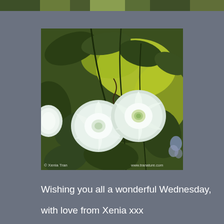[Figure (photo): Partial view of a garden/plant photograph at the very top of the page, cropped]
[Figure (photo): Photograph of white bindweed or morning glory flowers (Convolvulus) with green leaves against a bright background. Watermark text reads '© Xenia Tran' on the left and 'www.tranature.com' on the right.]
Wishing you all a wonderful Wednesday,
with love from Xenia xxx